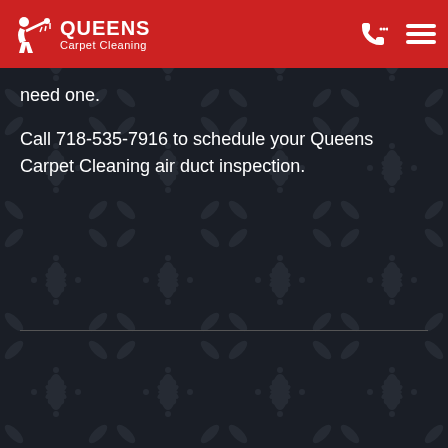QUEENS Carpet Cleaning
need one.
Call 718-535-7916 to schedule your Queens Carpet Cleaning air duct inspection.